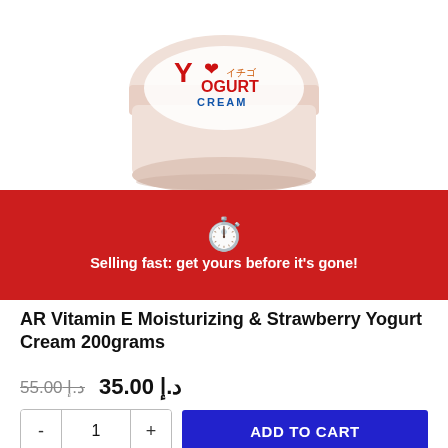[Figure (photo): Product photo of AR Vitamin E Moisturizing & Strawberry Yogurt Cream jar, white cylindrical container with red and blue Yogurt Cream branding, viewed from above at slight angle, cropped at top]
Selling fast: get yours before it's gone!
AR Vitamin E Moisturizing & Strawberry Yogurt Cream 200grams
د.إ 55.00  د.إ 35.00
- 1 +  ADD TO CART